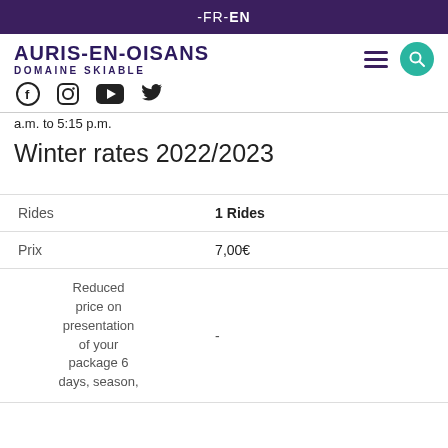-FR-EN
AURIS-EN-OISANS DOMAINE SKIABLE
a.m. to 5:15 p.m.
Winter rates 2022/2023
| Rides | 1 Rides |
| --- | --- |
| Prix | 7,00€ |
| Reduced price on presentation of your package 6 days, season, | - |